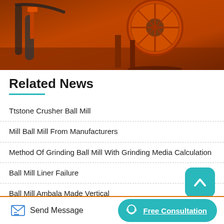[Figure (photo): Industrial machinery photograph showing orange-painted ball mill or crusher equipment in a factory setting]
Related News
Ttstone Crusher Ball Mill
Mill Ball Mill From Manufacturers
Method Of Grinding Ball Mill With Grinding Media Calculation
Ball Mill Liner Failure
Ball Mill Ambala Made Vertical
Send Message   Free Consultation